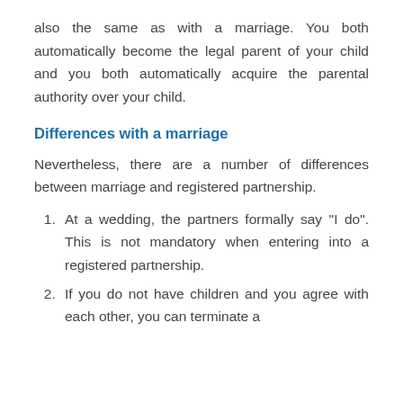also the same as with a marriage. You both automatically become the legal parent of your child and you both automatically acquire the parental authority over your child.
Differences with a marriage
Nevertheless, there are a number of differences between marriage and registered partnership.
At a wedding, the partners formally say ''I do". This is not mandatory when entering into a registered partnership.
If you do not have children and you agree with each other, you can terminate a